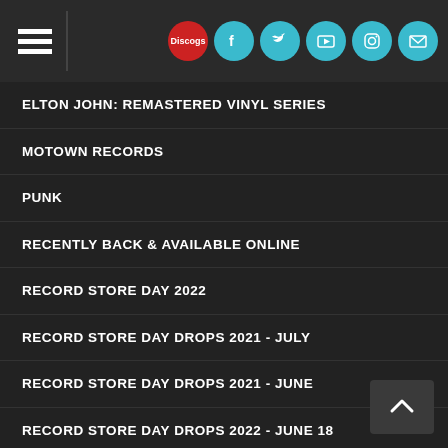Navigation header with menu icon, Discogs logo, Facebook, Twitter, YouTube, Instagram, Email icons
ELTON JOHN: REMASTERED VINYL SERIES
MOTOWN RECORDS
PUNK
RECENTLY BACK & AVAILABLE ONLINE
RECORD STORE DAY 2022
RECORD STORE DAY DROPS 2021 - JULY
RECORD STORE DAY DROPS 2021 - JUNE
RECORD STORE DAY DROPS 2022 - JUNE 18
RHINO JAZZ APPRECIATION MONTH
RSD BLACK FRIDAY 2021